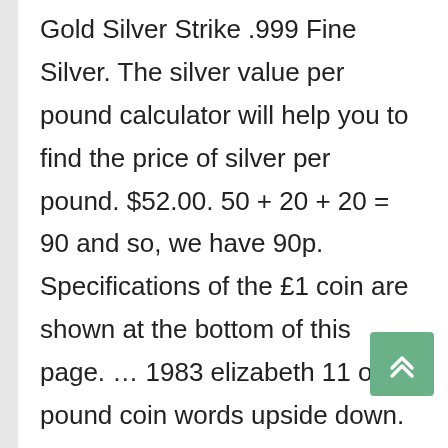Gold Silver Strike .999 Fine Silver. The silver value per pound calculator will help you to find the price of silver per pound. $52.00. 50 + 20 + 20 = 90 and so, we have 90p. Specifications of the £1 coin are shown at the bottom of this page. … 1983 elizabeth 11 one pound coin words upside down. It has a circulating supply of 0 3CS coins and a max supply of 15 Million. Four Queens $40 Gold Cap .999 Silver Strike COLOR Coin SPIRIT OF THE